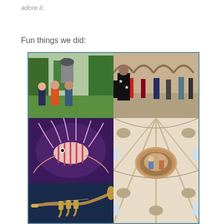adore it.
Fun things we did:
[Figure (photo): Collage of 5 travel photos: top-left shows children in front of a statue monument in a park; top-right shows people walking through an indoor market hall; middle-left shows a lionfish in an aquarium; bottom-left shows a close-up of a trumpet; right-center and bottom-right show the ornate painted ceiling of a baroque church.]